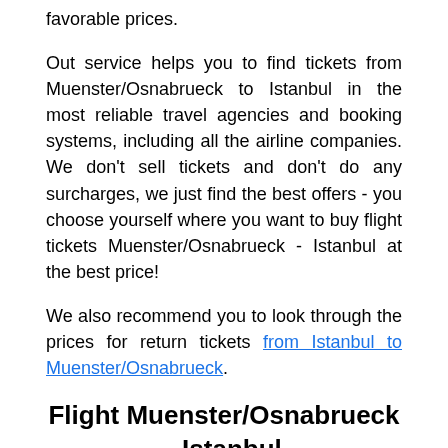favorable prices.
Out service helps you to find tickets from Muenster/Osnabrueck to Istanbul in the most reliable travel agencies and booking systems, including all the airline companies. We don't sell tickets and don't do any surcharges, we just find the best offers - you choose yourself where you want to buy flight tickets Muenster/Osnabrueck - Istanbul at the best price!
We also recommend you to look through the prices for return tickets from Istanbul to Muenster/Osnabrueck.
Flight Muenster/Osnabrueck - Istanbul
The distance between the airports in Muenster/Osnabrueck and Istanbul is about 2024km. Approximate travel time 2 hour 53 minutes (excluding